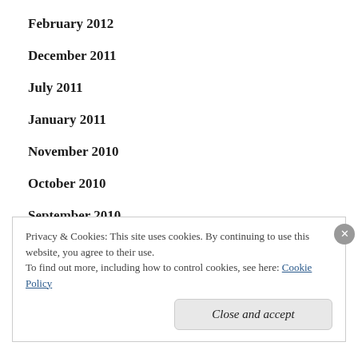February 2012
December 2011
July 2011
January 2011
November 2010
October 2010
September 2010
August 2010
July 2010
Privacy & Cookies: This site uses cookies. By continuing to use this website, you agree to their use.
To find out more, including how to control cookies, see here: Cookie Policy